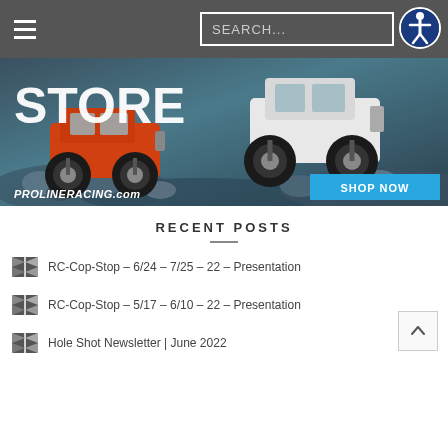Navigation header with hamburger menu, search bar, and accessibility button
[Figure (photo): Pro-Line Racing store banner ad showing two RC monster trucks (orange and white) on rocky terrain, with text 'STORE', 'PROLINERACING.com', and a blue 'SHOP NOW' button]
RECENT POSTS
RC-Cop-Stop – 6/24 – 7/25 – 22 – Presentation
RC-Cop-Stop – 5/17 – 6/10 – 22 – Presentation
Hole Shot Newsletter | June 2022